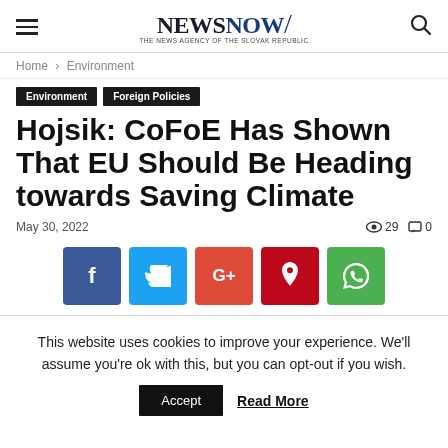NEWS NOW — THE NEWS AGENCY OF THE SLOVAK REPUBLIC
Home › Environment
Environment   Foreign Policies
Hojsik: CoFoE Has Shown That EU Should Be Heading towards Saving Climate
May 30, 2022   👁 29   💬 0
[Figure (infographic): Social share buttons: Facebook (blue), Twitter (light blue), Google+ (red-orange), Pinterest (dark red), WhatsApp (green)]
This website uses cookies to improve your experience. We'll assume you're ok with this, but you can opt-out if you wish.
Accept   Read More